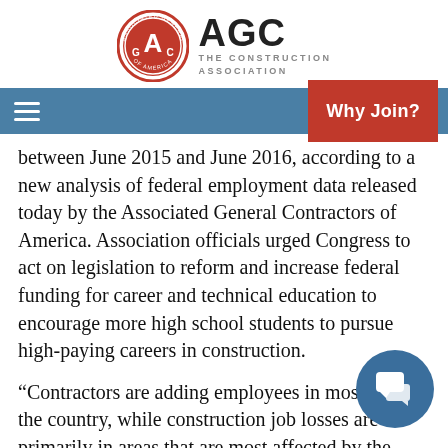[Figure (logo): AGC Associated General Contractors of America logo with circular emblem and text 'AGC THE CONSTRUCTION ASSOCIATION']
Why Join?
between June 2015 and June 2016, according to a new analysis of federal employment data released today by the Associated General Contractors of America. Association officials urged Congress to act on legislation to reform and increase federal funding for career and technical education to encourage more high school students to pursue high-paying careers in construction.
“Contractors are adding employees in most parts of the country, while construction job losses are primarily in areas that are most affected by the steep decline in oil drilling,” said Ken Simonson, the association’s economist, adding that construction employment peak levels in 32 metro areas. “However, increas…